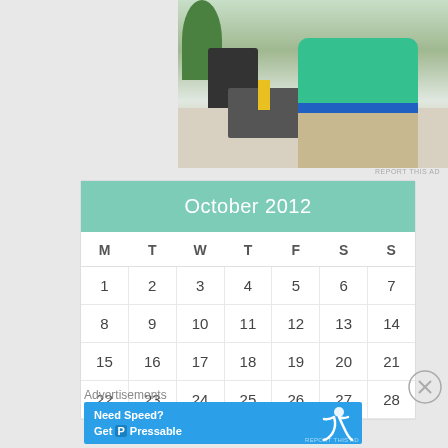[Figure (photo): Photo of a person in a green shirt standing at an office desk with a laptop, chair, and plant in the background]
| M | T | W | T | F | S | S |
| --- | --- | --- | --- | --- | --- | --- |
| 1 | 2 | 3 | 4 | 5 | 6 | 7 |
| 8 | 9 | 10 | 11 | 12 | 13 | 14 |
| 15 | 16 | 17 | 18 | 19 | 20 | 21 |
| 22 | 23 | 24 | 25 | 26 | 27 | 28 |
Advertisements
[Figure (screenshot): Advertisement banner: Need Speed? Get Pressable - blue background with running figure]